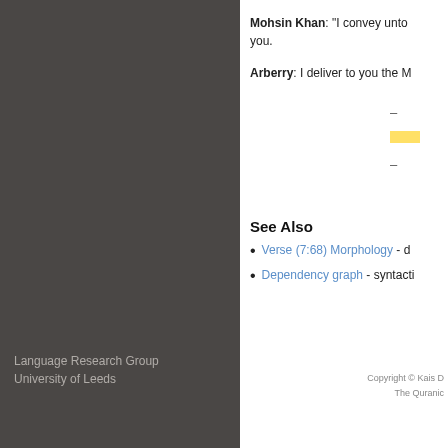Mohsin Khan: "I convey unto you. Arberry: I deliver to you the M
See Also
Verse (7:68) Morphology - d
Dependency graph - syntacti
Language Research Group
University of Leeds
Copyright © Kais D
The Quranic